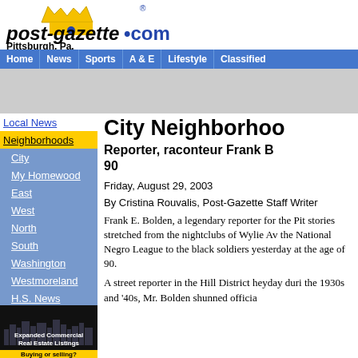[Figure (logo): post-gazette.com logo with Pittsburgh skyline crown graphic and Pittsburgh, Pa. text]
Home | News | Sports | A & E | Lifestyle | Classified
Local News
Neighborhoods
City
My Homewood
East
West
North
South
Washington
Westmoreland
H.S. News
Wire
[Figure (photo): Pittsburgh skyline advertisement for Expanded Commercial Real Estate Listings - Buying or selling?]
City  Neighborhood
Reporter, raconteur Frank B[olden dies at] 90
Friday, August 29, 2003
By Cristina Rouvalis, Post-Gazette Staff Writer
Frank E. Bolden, a legendary reporter for the Pit[tsburgh Courier whose] stories stretched from the nightclubs of Wylie Av[enue to the games of] the National Negro League to the black soldiers [of World War II, died] yesterday at the age of 90.
A street reporter in the Hill District heyday duri[ng] the 1930s and '40s, Mr. Bolden shunned officia[l]